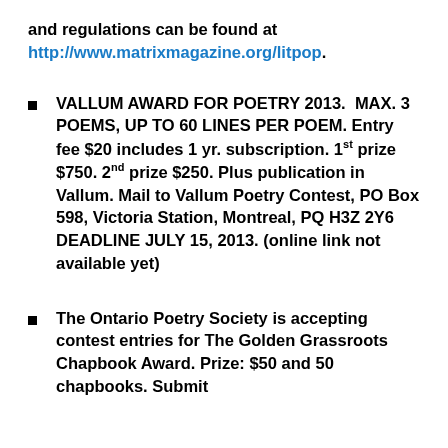and regulations can be found at http://www.matrixmagazine.org/litpop.
VALLUM AWARD FOR POETRY 2013.  MAX. 3 POEMS, UP TO 60 LINES PER POEM. Entry fee $20 includes 1 yr. subscription. 1st prize $750. 2nd prize $250. Plus publication in Vallum. Mail to Vallum Poetry Contest, PO Box 598, Victoria Station, Montreal, PQ H3Z 2Y6 DEADLINE JULY 15, 2013. (online link not available yet)
The Ontario Poetry Society is accepting contest entries for The Golden Grassroots Chapbook Award. Prize: $50 and 50 chapbooks. Submit